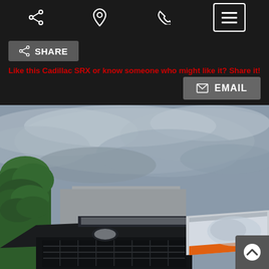Navigation bar with share, location, phone, and menu icons
SHARE
Like this Cadillac SRX or know someone who might like it? Share it!
EMAIL
[Figure (photo): Front view of a Cadillac SRX vehicle in a dealership lot, showing the grille, headlights, and hood against a cloudy sky with green trees on the left side.]